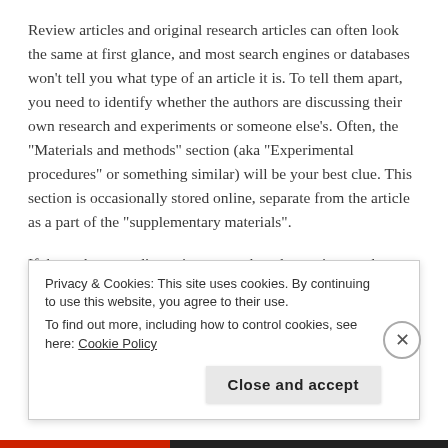Review articles and original research articles can often look the same at first glance, and most search engines or databases won't tell you what type of an article it is. To tell them apart, you need to identify whether the authors are discussing their own research and experiments or someone else's. Often, the "Materials and methods" section (aka "Experimental procedures" or something similar) will be your best clue. This section is occasionally stored online, separate from the article as a part of the "supplementary materials".
If the authors are discussing research and experiments that they carried out, and giving you an outline of the
Privacy & Cookies: This site uses cookies. By continuing to use this website, you agree to their use.
To find out more, including how to control cookies, see here: Cookie Policy
[Close and accept]